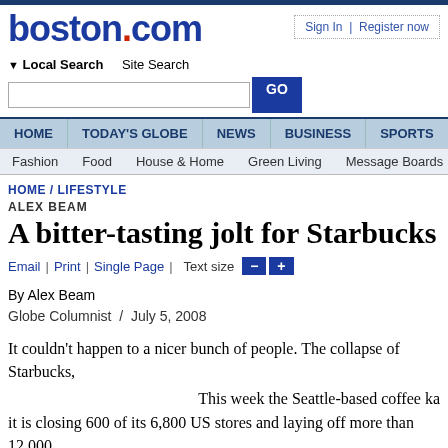boston.com
Sign In | Register now
Local Search   Site Search   GO
HOME | TODAY'S GLOBE | NEWS | BUSINESS | SPORTS | LIFESTYLE
Fashion | Food | House & Home | Green Living | Message Boards | Per
HOME / LIFESTYLE
ALEX BEAM
A bitter-tasting jolt for Starbucks
Email | Print | Single Page | Text size − +
By Alex Beam
Globe Columnist / July 5, 2008
It couldn't happen to a nicer bunch of people. The collapse of Starbucks,
This week the Seattle-based coffee ka
it is closing 600 of its 6,800 US stores and laying off more than 12,000